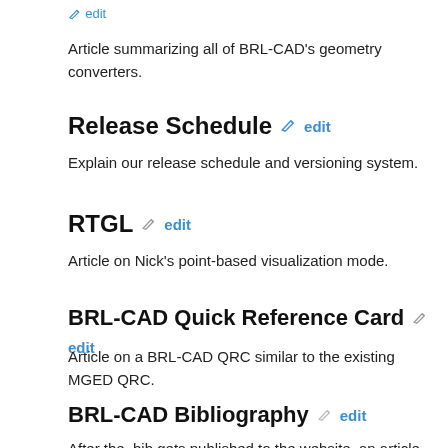edit
Article summarizing all of BRL-CAD's geometry converters.
Release Schedule  edit
Explain our release schedule and versioning system.
RTGL  edit
Article on Nick's point-based visualization mode.
BRL-CAD Quick Reference Card  edit
Article on a BRL-CAD QRC similar to the existing MGED QRC.
BRL-CAD Bibliography  edit
After the .bib gets published to the website, an article